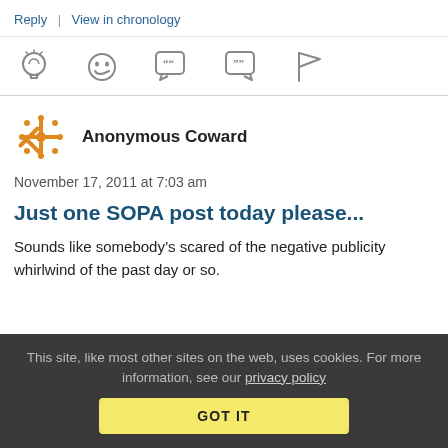Reply | View in chronology
[Figure (other): Icon bar with five icons: lightbulb, laughing emoji, speech bubble with quote marks, speech bubble with quote marks (smaller), and flag]
[Figure (illustration): Orange snowflake/star pattern avatar for Anonymous Coward]
Anonymous Coward
November 17, 2011 at 7:03 am
Just one SOPA post today please...
Sounds like somebody’s scared of the negative publicity whirlwind of the past day or so.
This site, like most other sites on the web, uses cookies. For more information, see our privacy policy
GOT IT